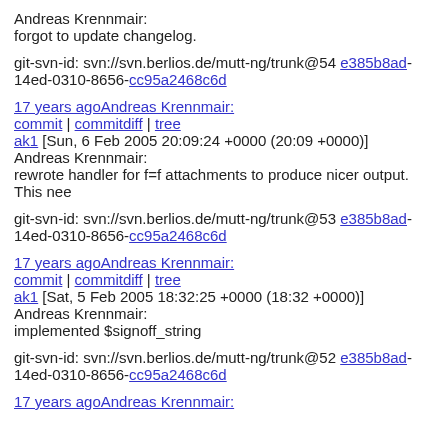Andreas Krennmair:
forgot to update changelog.
git-svn-id: svn://svn.berlios.de/mutt-ng/trunk@54 e385b8ad-14ed-0310-8656-cc95a2468c6d
17 years agoAndreas Krennmair:
commit | commitdiff | tree
ak1 [Sun, 6 Feb 2005 20:09:24 +0000 (20:09 +0000)]
Andreas Krennmair:
rewrote handler for f=f attachments to produce nicer output. This nee
git-svn-id: svn://svn.berlios.de/mutt-ng/trunk@53 e385b8ad-14ed-0310-8656-cc95a2468c6d
17 years agoAndreas Krennmair:
commit | commitdiff | tree
ak1 [Sat, 5 Feb 2005 18:32:25 +0000 (18:32 +0000)]
Andreas Krennmair:
implemented $signoff_string
git-svn-id: svn://svn.berlios.de/mutt-ng/trunk@52 e385b8ad-14ed-0310-8656-cc95a2468c6d
17 years agoAndreas Krennmair: